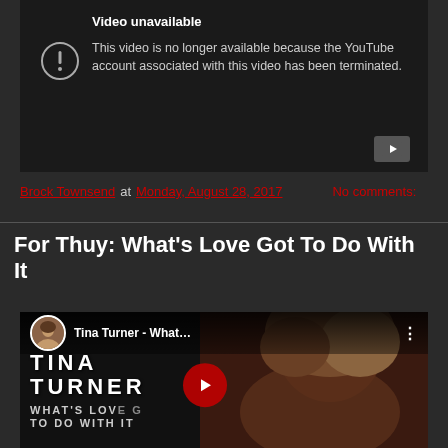[Figure (screenshot): YouTube video unavailable error box showing 'Video unavailable - This video is no longer available because the YouTube account associated with this video has been terminated.']
Brock Townsend at Monday, August 28, 2017   No comments:
For Thuy: What's Love Got To Do With It
[Figure (screenshot): YouTube video thumbnail for Tina Turner - What's Love Got To Do With It, showing Tina Turner with large hair and a play button overlay]